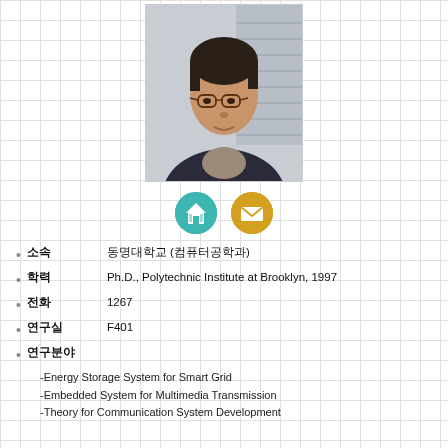[Figure (photo): Portrait photo of a middle-aged Korean man wearing glasses and a dark sweater with a grey scarf, in front of window blinds]
[Figure (infographic): Two circular icon buttons: a teal home/building icon and a gold envelope/email icon]
소속  동명대학교 (컴퓨터공학과)
학력  Ph.D., Polytechnic Institute at Brooklyn, 1997
전화  1267
연구실  F401
연구분야
-Energy Storage System for Smart Grid
-Embedded System for Multimedia Transmission
-Theory for Communication System Development